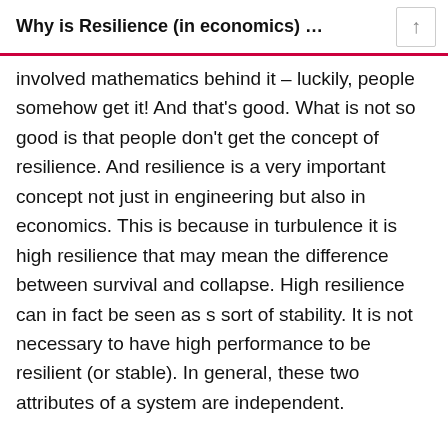Why is Resilience (in economics) …
involved mathematics behind it – luckily, people somehow get it! And that's good. What is not so good is that people don't get the concept of resilience. And resilience is a very important concept not just in engineering but also in economics. This is because in turbulence it is high resilience that may mean the difference between survival and collapse. High resilience can in fact be seen as s sort of stability. It is not necessary to have high performance to be resilient (or stable). In general, these two attributes of a system are independent.
To explain this difficult (some say it is counter-